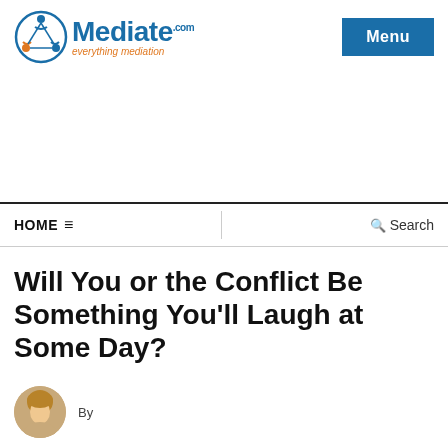Mediate.com — everything mediation | Menu
HOME ☰ | Search
Will You or the Conflict Be Something You'll Laugh at Some Day?
By